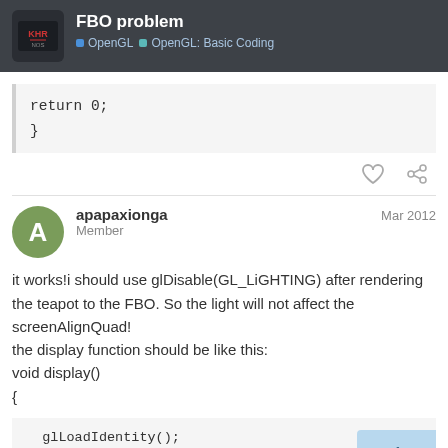FBO problem — OpenGL > OpenGL: Basic Coding
return 0;
}
apapaxionga — Member — Mar 2012
it works!i should use glDisable(GL_LiGHTING) after rendering the teapot to the FBO. So the light will not affect the screenAlignQuad!
the display function should be like this:
void display()
{
glLoadIdentity();
glBindFramebufferEXT(GL_FRAMEBI
7 / 9